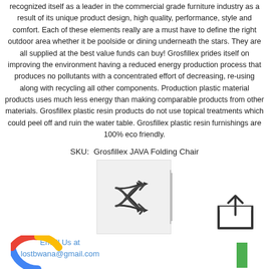recognized itself as a leader in the commercial grade furniture industry as a result of its unique product design, high quality, performance, style and comfort. Each of these elements really are a must have to define the right outdoor area whether it be poolside or dining underneath the stars. They are all supplied at the best value funds can buy! Grosfillex prides itself on improving the environment having a reduced energy production process that produces no pollutants with a concentrated effort of decreasing, re-using along with recycling all other components. Production plastic material products uses much less energy than making comparable products from other materials. Grosfillex plastic resin products do not use topical treatments which could peel off and ruin the water table. Grosfillex plastic resin furnishings are 100% eco friendly.
SKU:  Grosfillex JAVA Folding Chair
[Figure (other): Shuffle/random icon inside a light gray box with a vertical bar on the right side]
Email Us at
lostbwana@gmail.com
[Figure (other): Share/upload icon: upward arrow inside a square bracket frame]
[Figure (other): Partial Google colored arc logo at bottom left]
[Figure (other): Green vertical bar at bottom right]